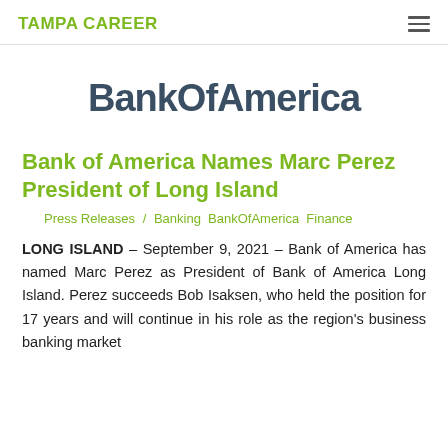TAMPA CAREER
BankOfAmerica
Bank of America Names Marc Perez President of Long Island
Press Releases / Banking BankOfAmerica Finance
LONG ISLAND – September 9, 2021 – Bank of America has named Marc Perez as President of Bank of America Long Island. Perez succeeds Bob Isaksen, who held the position for 17 years and will continue in his role as the region's business banking market